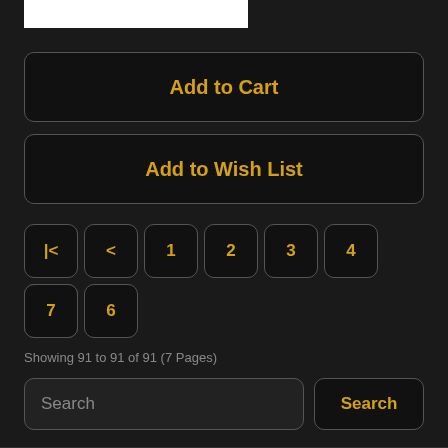[Figure (other): White rectangle image placeholder at top]
Add to Cart
Add to Wish List
|<
<
1
2
3
4
5
6
7
Showing 91 to 91 of 91 (7 Pages)
Search
Search